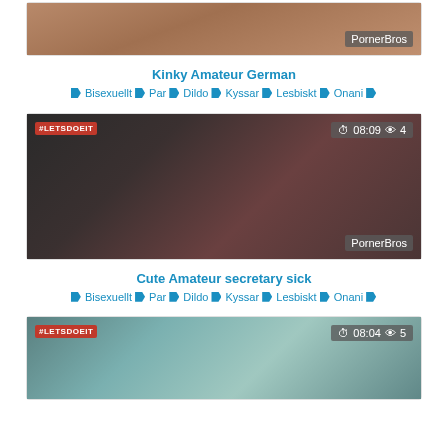[Figure (photo): Thumbnail for Kinky Amateur German video with PornerBros watermark]
Kinky Amateur German
🏷 Bisexuellt 🏷 Par 🏷 Dildo 🏷 Kyssar 🏷 Lesbiskt 🏷 Onani 🏷
[Figure (photo): Thumbnail for Cute Amateur secretary sick video, 08:09 duration, 4 views, PornerBros watermark, #LETSDOEIT badge]
Cute Amateur secretary sick
🏷 Bisexuellt 🏷 Par 🏷 Dildo 🏷 Kyssar 🏷 Lesbiskt 🏷 Onani 🏷
[Figure (photo): Thumbnail for third video, 08:04 duration, 5 views, #LETSDOEIT badge]